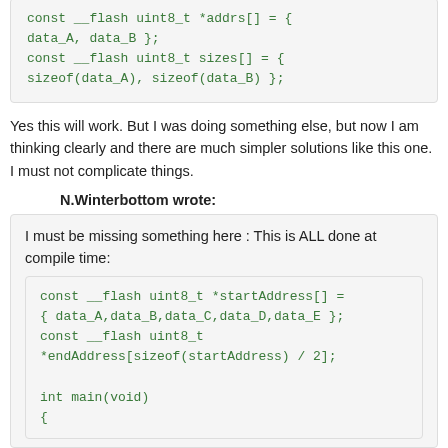const __flash uint8_t *addrs[] = {
data_A, data_B };
const __flash uint8_t sizes[] = {
sizeof(data_A), sizeof(data_B) };
Yes this will work. But I was doing something else, but now I am thinking clearly and there are much simpler solutions like this one. I must not complicate things.
N.Winterbottom wrote:
I must be missing something here : This is ALL done at compile time:
const __flash uint8_t *startAddress[] =
{ data_A,data_B,data_C,data_D,data_E };
const __flash uint8_t
*endAddress[sizeof(startAddress) / 2];

int main(void)
{